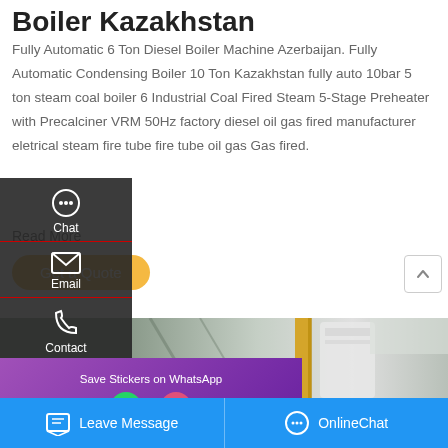Boiler Kazakhstan
Fully Automatic 6 Ton Diesel Boiler Machine Azerbaijan. Fully Automatic Condensing Boiler 10 Ton Kazakhstan fully auto 10bar 5 ton steam coal boiler 6 Industrial Coal Fired Steam 5-Stage Preheater with Precalciner VRM 50Hz factory diesel oil gas fired manufacturer eletrical steam fire tube fire tube oil gas Gas fired.
Read More
Get a Quote
[Figure (screenshot): Sidebar overlay with Chat, Email, and Contact icons on dark background]
[Figure (photo): Industrial boiler factory interior photo showing machinery and yellow pipes]
[Figure (screenshot): WhatsApp sticker save banner with purple gradient background and app icons]
Leave Message
OnlineChat